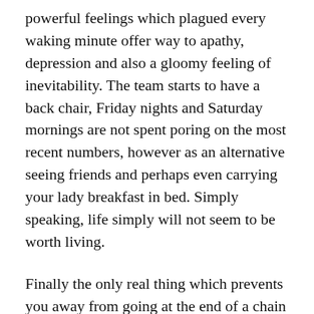powerful feelings which plagued every waking minute offer way to apathy, depression and also a gloomy feeling of inevitability. The team starts to have a back chair, Friday nights and Saturday mornings are not spent poring on the most recent numbers, however as an alternative seeing friends and perhaps even carrying your lady breakfast in bed. Simply speaking, life simply will not seem to be worth living.
Finally the only real thing which prevents you away from going at the end of a chain would be that the expectation that maybe your Nemesis that has won the previous five titles could slide up, create a mistake, even forget their Captain has already been suspended.
Until next season ofcourse! It will be different, I will